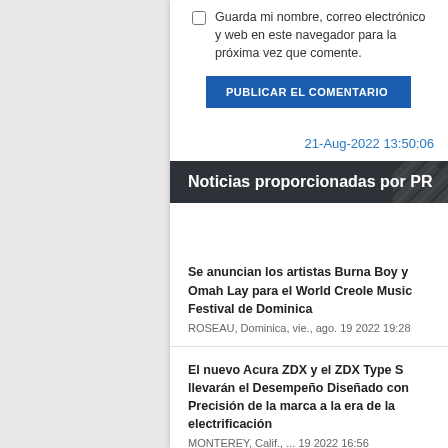Guarda mi nombre, correo electrónico y web en este navegador para la próxima vez que comente.
PUBLICAR EL COMENTARIO
21-Aug-2022 13:50:06
Noticias proporcionadas por PR
Se anuncian los artistas Burna Boy y Omah Lay para el World Creole Music Festival de Dominica
ROSEAU, Dominica, vie., ago. 19 2022 19:28
El nuevo Acura ZDX y el ZDX Type S llevarán el Desempeño Diseñado con Precisión de la marca a la era de la electrificación
MONTEREY, Calif., ... 19 2022 16:56